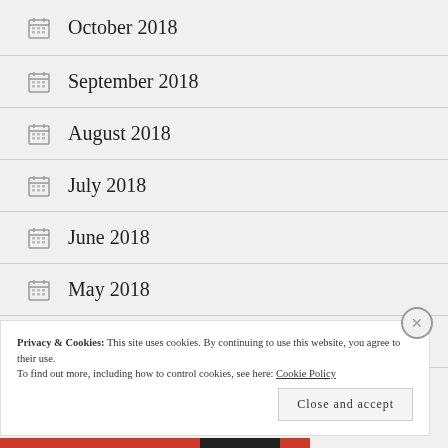October 2018
September 2018
August 2018
July 2018
June 2018
May 2018
April 2018
Privacy & Cookies: This site uses cookies. By continuing to use this website, you agree to their use.
To find out more, including how to control cookies, see here: Cookie Policy
Close and accept